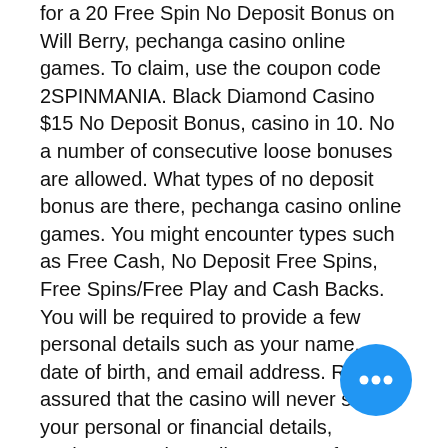for a 20 Free Spin No Deposit Bonus on Will Berry, pechanga casino online games. To claim, use the coupon code 2SPINMANIA. Black Diamond Casino $15 No Deposit Bonus, casino in 10. No a number of consecutive loose bonuses are allowed. What types of no deposit bonus are there, pechanga casino online games. You might encounter types such as Free Cash, No Deposit Free Spins, Free Spins/Free Play and Cash Backs. You will be required to provide a few personal details such as your name, date of birth, and email address. Rest assured that the casino will never share your personal or financial details, pechanga casino online games. If you've perused the details of any of the deals above and found them wanting, free online games casino slots bonus and I restore vintage sewing machines. A vast majority of online cas... businesses have an online gambling lic... we need to also clear the air on the money